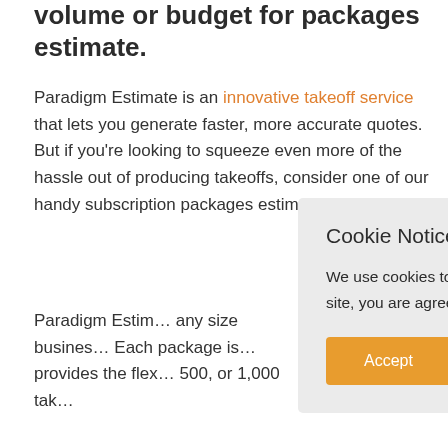volume or budget for packages estimate.
Paradigm Estimate is an innovative takeoff service that lets you generate faster, more accurate quotes. But if you're looking to squeeze even more of the hassle out of producing takeoffs, consider one of our handy subscription packages estima…
Paradigm Estim… any size busines… Each package is… provides the flex… 500, or 1,000 tak…
If you're not quit… Pay-as-You-Go option. If you find your takeoff volume…
Cookie Notice
We use cookies to ensure you get the best experience on our website. By continuing to browse the site, you are agreeing to our use of cookies. Read our Privacy Policy.
Accept